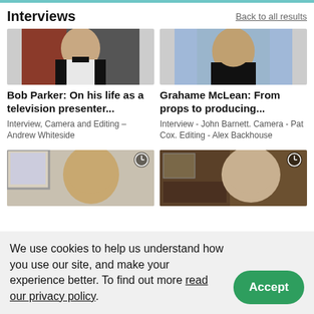Interviews
Back to all results
[Figure (photo): Bob Parker smiling in a dark jacket, interview setting]
Bob Parker: On his life as a television presenter...
Interview, Camera and Editing – Andrew Whiteside
[Figure (photo): Grahame McLean smiling in a dark sweater, blue background]
Grahame McLean: From props to producing...
Interview - John Barnett. Camera - Pat Cox. Editing - Alex Backhouse
[Figure (photo): Man smiling, home setting with picture frames, clock icon overlay]
[Figure (photo): Older man smiling, bookshelves in background, clock icon overlay]
We use cookies to help us understand how you use our site, and make your experience better. To find out more read our privacy policy.